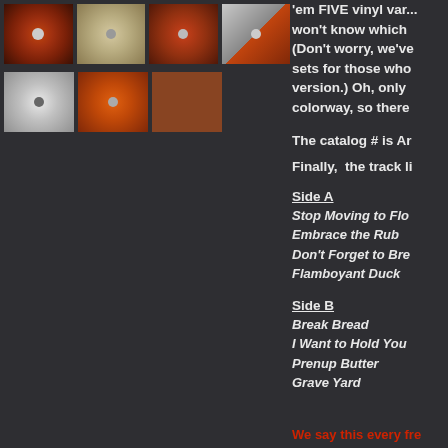[Figure (photo): Grid of vinyl record thumbnail photos showing various colored vinyl variants]
'em FIVE vinyl var... won't know which (Don't worry, we've sets for those who version.) Oh, only colorway, so there
The catalog # is Ar
Finally,  the track li
Side A
Stop Moving to Flo
Embrace the Rub
Don't Forget to Bre
Flamboyant Duck
Side B
Break Bread
I Want to Hold You
Prenup Butter
Grave Yard
We say this every fre